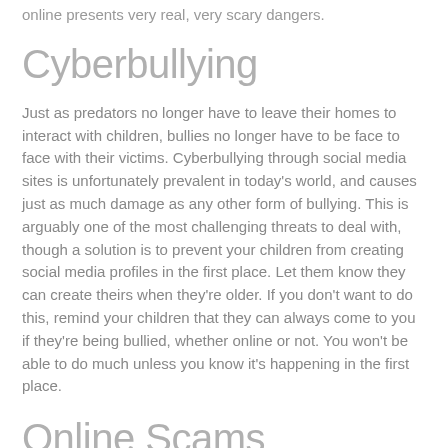online presents very real, very scary dangers.
Cyberbullying
Just as predators no longer have to leave their homes to interact with children, bullies no longer have to be face to face with their victims. Cyberbullying through social media sites is unfortunately prevalent in today's world, and causes just as much damage as any other form of bullying. This is arguably one of the most challenging threats to deal with, though a solution is to prevent your children from creating social media profiles in the first place. Let them know they can create theirs when they're older. If you don't want to do this, remind your children that they can always come to you if they're being bullied, whether online or not. You won't be able to do much unless you know it's happening in the first place.
Online Scams